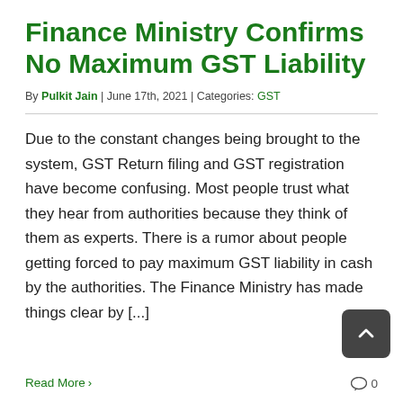Finance Ministry Confirms No Maximum GST Liability
By Pulkit Jain | June 17th, 2021 | Categories: GST
Due to the constant changes being brought to the system, GST Return filing and GST registration have become confusing. Most people trust what they hear from authorities because they think of them as experts. There is a rumor about people getting forced to pay maximum GST liability in cash by the authorities. The Finance Ministry has made things clear by [...]
Read More >
0